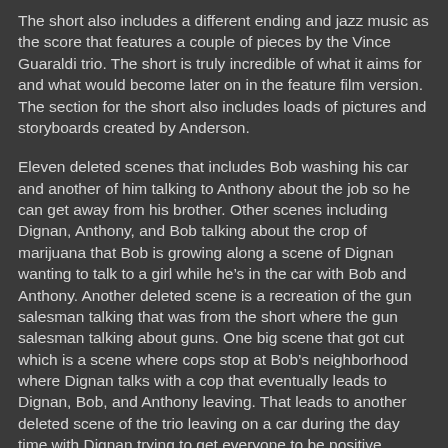The short also includes a different ending and jazz music as the score that features a couple of pieces by the Vince Guaraldi trio. The short is truly incredible of what it aims for and what would become later on in the feature film version. The section for the short also includes loads of pictures and storyboards created by Anderson.
Eleven deleted scenes that includes Bob washing his car and another of him talking to Anthony about the job so he can get away from his brother. Other scenes including Dignan, Anthony, and Bob talking about the crop of marijuana that Bob is growing along a scene of Dignan wanting to talk to a girl while he's in the car with Bob and Anthony. Another deleted scene is a recreation of the gun salesman talking that was from the short where the gun salesman talking about guns. One big scene that got cut which is a scene where cops stop at Bob's neighborhood where Dignan talks with a cop that eventually leads to Dignan, Bob, and Anthony leaving. That leads to another deleted scene of the trio leaving on a car during the day time with Dignan trying to get everyone to be positive.